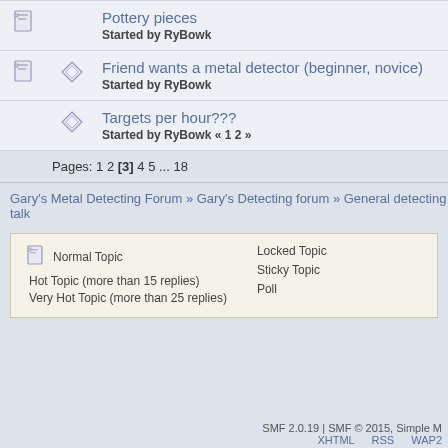|  |  | Topic |
| --- | --- | --- |
| [icon] |  | Pottery pieces
Started by RyBowk |
| [icon] | [diamond] | Friend wants a metal detector (beginner, novice)
Started by RyBowk |
|  | [diamond] | Targets per hour???
Started by RyBowk « 1 2 » |
Pages: 1 2 [3] 4 5 ... 18
Gary's Metal Detecting Forum » Gary's Detecting forum » General detecting talk
Normal Topic
Hot Topic (more than 15 replies)
Very Hot Topic (more than 25 replies)
Locked Topic
Sticky Topic
Poll
SMF 2.0.19 | SMF © 2015, Simple M
XHTML   RSS   WAP2